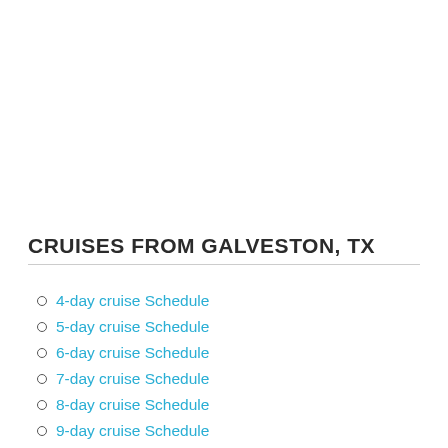CRUISES FROM GALVESTON, TX
4-day cruise Schedule
5-day cruise Schedule
6-day cruise Schedule
7-day cruise Schedule
8-day cruise Schedule
9-day cruise Schedule
Galveston Cruises 2022